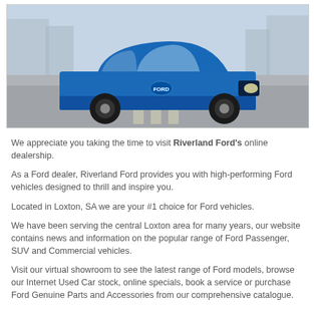[Figure (photo): Blue Ford Puma SUV driving on a road in an urban setting]
We appreciate you taking the time to visit Riverland Ford's online dealership.
As a Ford dealer, Riverland Ford provides you with high-performing Ford vehicles designed to thrill and inspire you.
Located in Loxton, SA we are your #1 choice for Ford vehicles.
We have been serving the central Loxton area for many years, our website contains news and information on the popular range of Ford Passenger, SUV and Commercial vehicles.
Visit our virtual showroom to see the latest range of Ford models, browse our Internet Used Car stock, online specials, book a service or purchase Ford Genuine Parts and Accessories from our comprehensive catalogue.